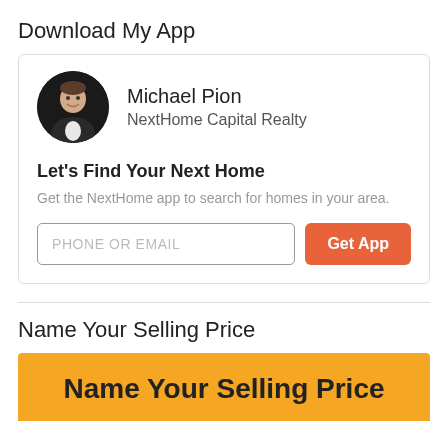Download My App
[Figure (infographic): App download card with agent photo (Michael Pion), name, company (NextHome Capital Realty), headline 'Let's Find Your Next Home', description text, phone/email input field, and Get App button]
Name Your Selling Price
[Figure (infographic): Orange banner with text 'Name Your Selling Price']